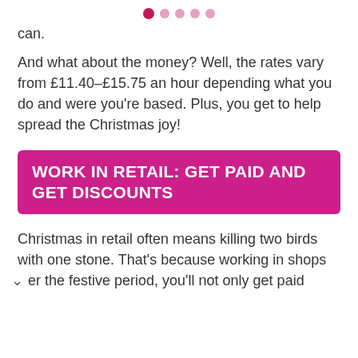• • • • •
…pay/doing … pp y … y can.
And what about the money? Well, the rates vary from £11.40–£15.75 an hour depending what you do and were you're based. Plus, you get to help spread the Christmas joy!
WORK IN RETAIL: GET PAID AND GET DISCOUNTS
Christmas in retail often means killing two birds with one stone. That's because working in shops over the festive period, you'll not only get paid…